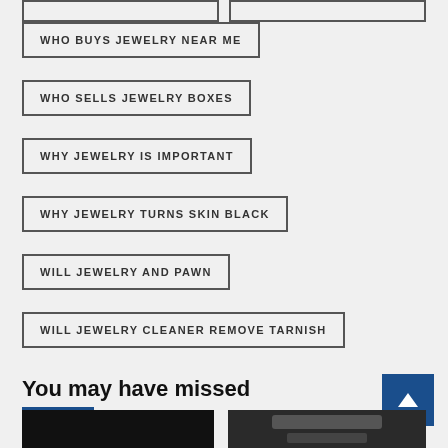WHO BUYS JEWELRY NEAR ME
WHO SELLS JEWELRY BOXES
WHY JEWELRY IS IMPORTANT
WHY JEWELRY TURNS SKIN BLACK
WILL JEWELRY AND PAWN
WILL JEWELRY CLEANER REMOVE TARNISH
You may have missed
[Figure (photo): Dark thumbnail image on the left]
[Figure (photo): Dark thumbnail image showing a device on the right]